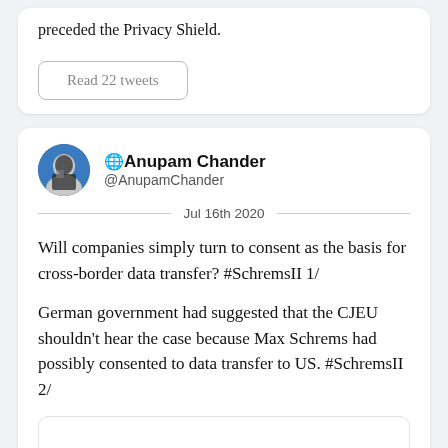preceded the Privacy Shield.
Read 22 tweets
🌐Anupam Chander @AnupamChander Jul 16th 2020
Will companies simply turn to consent as the basis for cross-border data transfer? #SchremsII 1/
German government had suggested that the CJEU shouldn't hear the case because Max Schrems had possibly consented to data transfer to US. #SchremsII 2/
[Figure (screenshot): Nested tweet card (empty/partial content shown)]